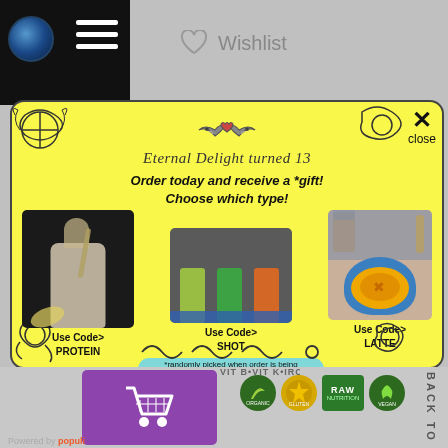Wishlist
[Figure (screenshot): Modal popup on e-commerce website with yellow background promoting Eternal Delight turned 13 anniversary. Contains three food/drink images with promo codes: PROTEIN (protein shake), SHOT (juice shots), LATTE (latte coffee).]
Eternal Delight turned 13
Order today and receive a *gift!
Choose which type!
Use Code> PROTEIN
Use Code> SHOT
Use Code> LATTE
*randomly picked when order is being processed
BACK TO